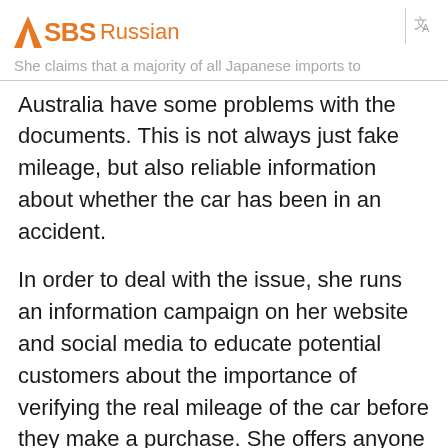SBS Russian
She claims that a majority of all Japanese imports to Australia have some problems with the documents. This is not always just fake mileage, but also reliable information about whether the car has been in an accident.
In order to deal with the issue, she runs an information campaign on her website and social media to educate potential customers about the importance of verifying the real mileage of the car before they make a purchase. She offers anyone a free service - checking the real condition of the car, whether it was in an accident and its real mileage.
"Honestly, this was not my idea. I joined a group on